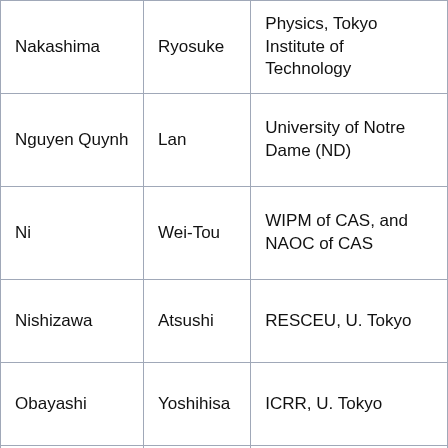| Nakashima | Ryosuke | Physics, Tokyo Institute of Technology |
| Nguyen Quynh | Lan | University of Notre Dame (ND) |
| Ni | Wei-Tou | WIPM of CAS, and NAOC of CAS |
| Nishizawa | Atsushi | RESCEU, U. Tokyo |
| Obayashi | Yoshihisa | ICRR, U. Tokyo |
| Ogaki | Wataru | ICRR |
| Ogawa | Jun | Tokyo Tech |
| Oh | Sang Hoon | National Institute for Mathematical Sciences |